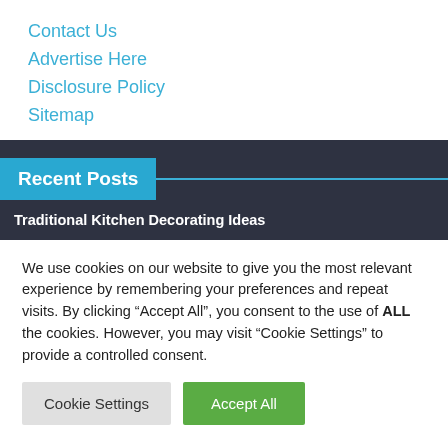Contact Us
Advertise Here
Disclosure Policy
Sitemap
Recent Posts
Traditional Kitchen Decorating Ideas
We use cookies on our website to give you the most relevant experience by remembering your preferences and repeat visits. By clicking “Accept All”, you consent to the use of ALL the cookies. However, you may visit "Cookie Settings" to provide a controlled consent.
Cookie Settings   Accept All